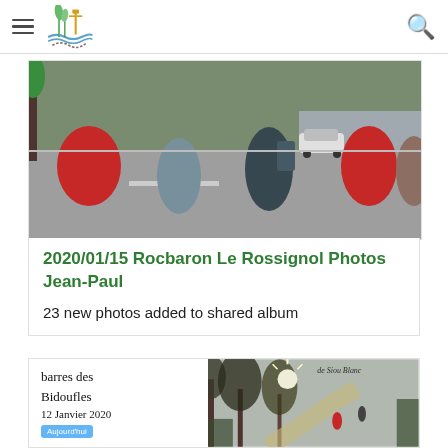Navigation menu and logo header
[Figure (photo): Group of hikers with backpacks standing on a road, talking, with a car in the background]
2020/01/15 Rocbaron Le Rossignol Photos Jean-Paul
23 new photos added to shared album
[Figure (photo): Composite card showing handwritten text 'barres des Bidoufles 12 Janvier 2020' on the left and a photo of hikers on a path with sunlight through trees on the right, with 'de Siou Blanc' text overlay]